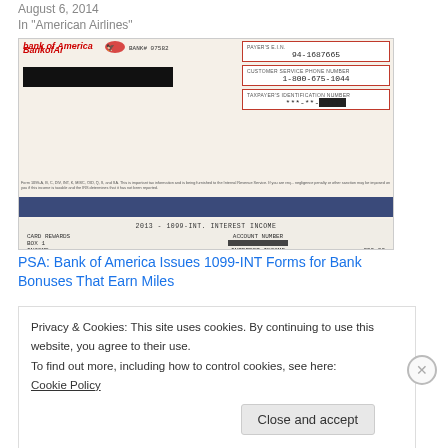August 6, 2014
In "American Airlines"
[Figure (photo): Photograph of a Bank of America 1099-INT Interest Income form showing BANK# 07582, PAYER'S E.I.N. 94-1687665, CUSTOMER SERVICE PHONE NUMBER 1-800-675-1044, TAXPAYER'S IDENTIFICATION NUMBER ***-**-[redacted], CARD REWARDS BOX 1, ACCOUNT NUMBER [redacted], INTEREST INCOME 250.00, year 2013]
PSA: Bank of America Issues 1099-INT Forms for Bank Bonuses That Earn Miles
Privacy & Cookies: This site uses cookies. By continuing to use this website, you agree to their use.
To find out more, including how to control cookies, see here: Cookie Policy